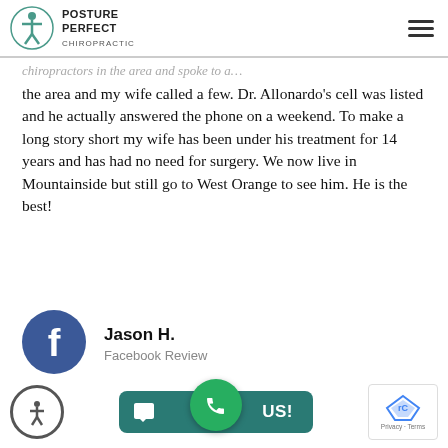POSTURE PERFECT CHIROPRACTIC
the area and my wife called a few. Dr. Allonardo’s cell was listed and he actually answered the phone on a weekend. To make a long story short my wife has been under his treatment for 14 years and has had no need for surgery. We now live in Mountainside but still go to West Orange to see him. He is the best!
[Figure (logo): Facebook profile circle icon with white 'f' on blue background]
Jason H.
Facebook Review
CONTACT US!